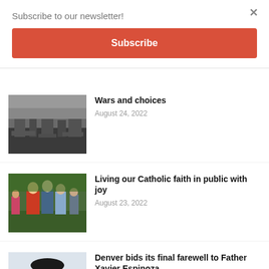Subscribe to our newsletter!
Subscribe
[Figure (photo): Black and white photo of war-torn cityscape with destroyed buildings]
Wars and choices
August 24, 2022
[Figure (photo): Photo of people outdoors, a woman in a red jacket and others gathered in a park]
Living our Catholic faith in public with joy
August 23, 2022
[Figure (photo): Portrait photo of Father Xavier Espinoza, a priest in clerical collar]
Denver bids its final farewell to Father Xavier Espinoza
August 19, 2022